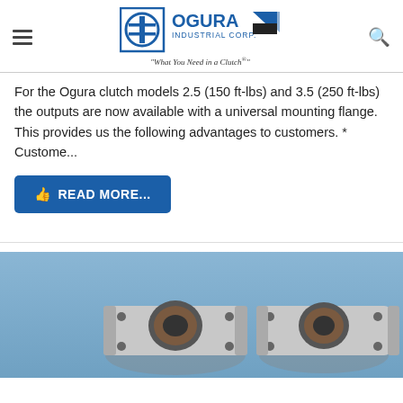Ogura Industrial Corp — What You Need in a Clutch®
For the Ogura clutch models 2.5 (150 ft-lbs) and 3.5 (250 ft-lbs) the outputs are now available with a universal mounting flange. This provides us the following advantages to customers. * Custome...
READ MORE...
[Figure (photo): Two metallic clutch/flange components photographed against a blue background]